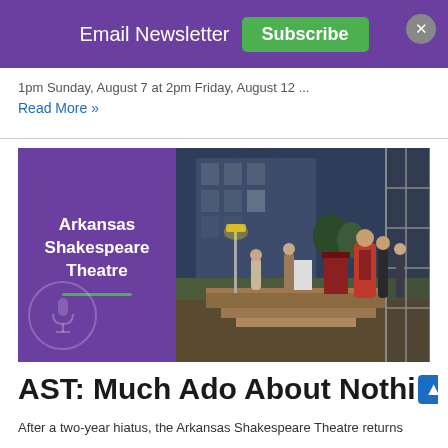Email Newsletter  Subscribe
1pm Sunday, August 7 at 2pm Friday, August 12 ...
Read More »
[Figure (photo): Arkansas Shakespeare Theatre logo on purple background on the left, and a photo of an outdoor theatre stage performance on the right, with actors in period costumes on a wooden stage with scaffolding and a brick building in the background.]
AST: Much Ado About Nothing
After a two-year hiatus, the Arkansas Shakespeare Theatre returns